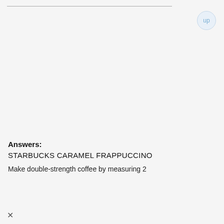Answers:
STARBUCKS CARAMEL FRAPPUCCINO
Make double-strength coffee by measuring 2